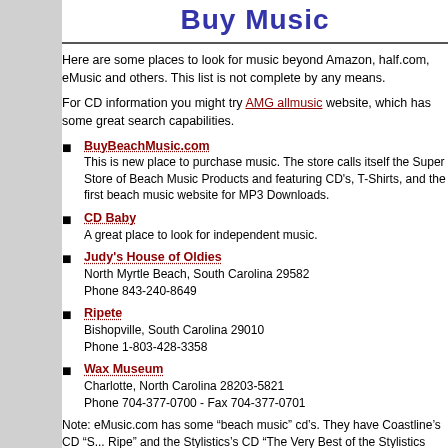Buy Music
Here are some places to look for music beyond Amazon, half.com, eMusic and others. This list is not complete by any means.
For CD information you might try AMG allmusic website, which has some great search capabilities.
BuyBeachMusic.com
This is new place to purchase music. The store calls itself the Super Store of Beach Music Products and featuring CD's, T-Shirts, and the first beach music website for MP3 Downloads.
CD Baby
A great place to look for independent music.
Judy's House of Oldies
North Myrtle Beach, South Carolina 29582
Phone 843-240-8649
Ripete
Bishopville, South Carolina 29010
Phone 1-803-428-3358
Wax Museum
Charlotte, North Carolina 28203-5821
Phone 704-377-0700 - Fax 704-377-0701
Note: eMusic.com has some “beach music” cd’s. They have Coastline’s CD “S... Ripe” and the Stylistics’s CD “The Very Best of the Stylistics and More”... which... some old Stylistics stuff that has been re-done but also some of the new tunes... Thompkins, Jr has done in the past couple of years (and sang for us at SOS)...